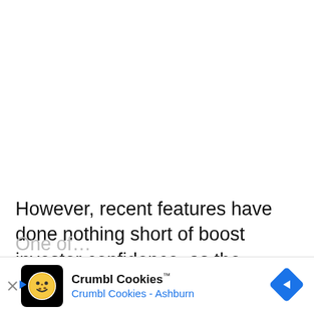However, recent features have done nothing short of boost investor confidence, as the company has stated in its most recent investor news release that it has 6 key new features in development for its platform.
[Figure (other): Crumbl Cookies advertisement banner showing logo, brand name 'Crumbl Cookies™', subtitle 'Crumbl Cookies - Ashburn', with a blue navigation arrow icon and close/play controls.]
One of… …ent